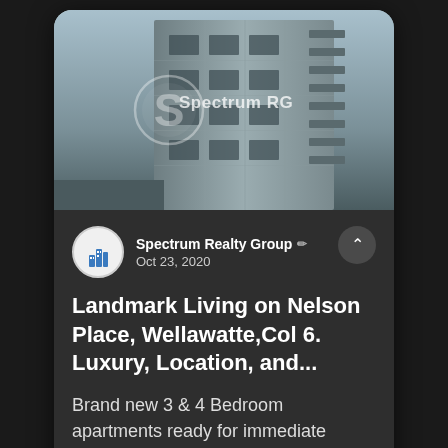[Figure (photo): Exterior photo of a modern multi-storey apartment building with balconies, shown in grayscale tones, with a watermark overlay reading 'Spectrum RG' with a stylized S logo in a circle]
Spectrum Realty Group 🖊 Oct 23, 2020
Landmark Living on Nelson Place, Wellawatte,Col 6. Luxury, Location, and...
Brand new 3 & 4 Bedroom apartments ready for immediate occupation at...